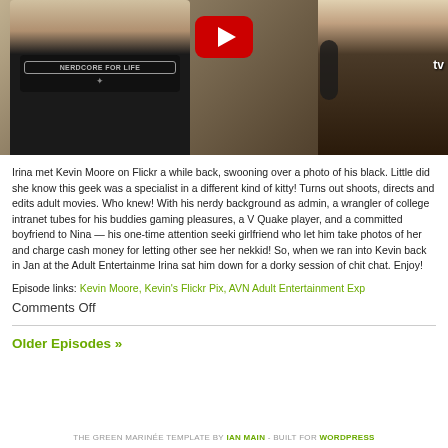[Figure (photo): Video thumbnail showing a person wearing a black 'Nerdcore For Life' t-shirt being interviewed, with a YouTube play button overlay and a TV microphone visible]
Irina met Kevin Moore on Flickr a while back, swooning over a photo of his black. Little did she know this geek was a specialist in a different kind of kitty! Turns out shoots, directs and edits adult movies. Who knew! With his nerdy background as admin, a wrangler of college intranet tubes for his buddies gaming pleasures, a V Quake player, and a committed boyfriend to Nina — his one-time attention seeki girlfriend who let him take photos of her and charge cash money for letting other see her nekkid! So, when we ran into Kevin back in Jan at the Adult Entertainme Irina sat him down for a dorky session of chit chat. Enjoy!
Episode links: Kevin Moore, Kevin's Flickr Pix, AVN Adult Entertainment Exp
Comments Off
Older Episodes »
THE GREEN MARINÉE TEMPLATE BY IAN MAIN - BUILT FOR WORDPRESS